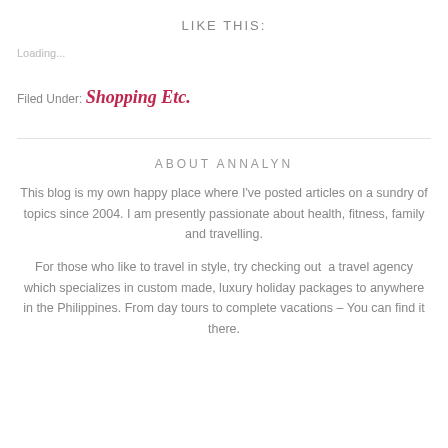LIKE THIS:
Loading...
Filed Under: Shopping Etc.
ABOUT ANNALYN
This blog is my own happy place where I've posted articles on a sundry of topics since 2004. I am presently passionate about health, fitness, family and travelling.
For those who like to travel in style, try checking out  a travel agency which specializes in custom made, luxury holiday packages to anywhere in the Philippines. From day tours to complete vacations – You can find it there.